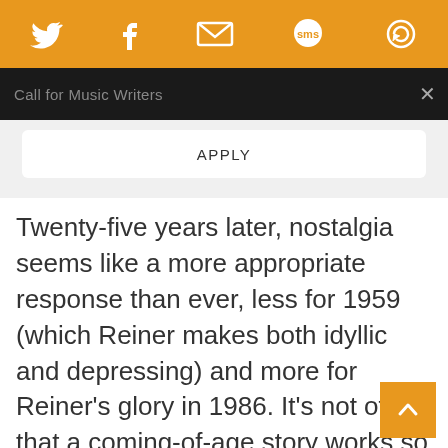Social share icons: Twitter, Facebook, Email, SMS, Other
Call for Music Writers
APPLY
Twenty-five years later, nostalgia seems like a more appropriate response than ever, less for 1959 (which Reiner makes both idyllic and depressing) and more for Reiner’s glory in 1986. It’s not often that a coming-of-age story works so well.